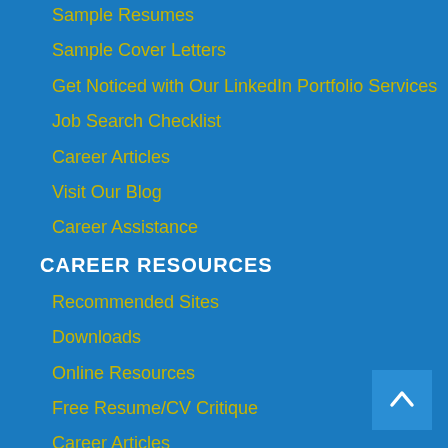Sample Resumes
Sample Cover Letters
Get Noticed with Our LinkedIn Portfolio Services
Job Search Checklist
Career Articles
Visit Our Blog
Career Assistance
CAREER RESOURCES
Recommended Sites
Downloads
Online Resources
Free Resume/CV Critique
Career Articles
ABOUT US